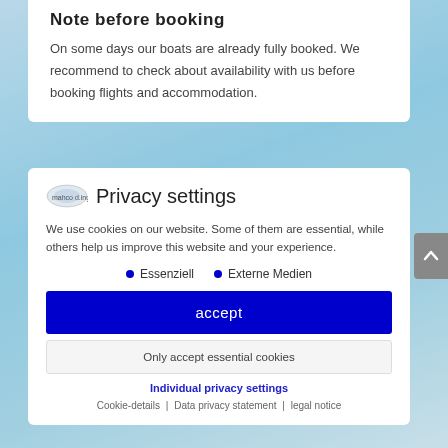Note before booking
On some days our boats are already fully booked. We recommend to check about availability with us before booking flights and accommodation.
Privacy settings
We use cookies on our website. Some of them are essential, while others help us improve this website and your experience.
Essenziell
Externe Medien
accept
Only accept essential cookies
Individual privacy settings
Cookie-details | Data privacy statement | legal notice